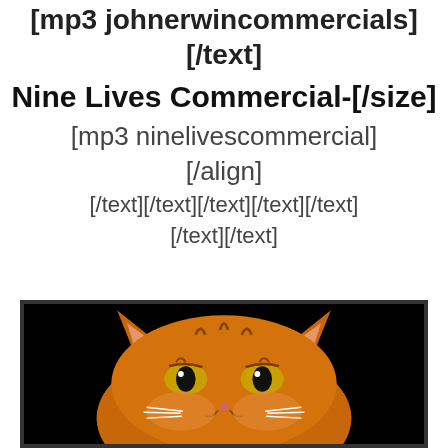[mp3 johnerwincommercials]
[/text]
Nine Lives Commercial-[/size]
[mp3 ninelivescommercial]
[/align]
[/text][/text][/text][/text][/text]
[/text][/text]
[Figure (photo): Orange tabby cat with a dark/black background, shown from the top of head to just below the chin, framed with a thick dark border. The cat has an intense, somewhat grumpy expression.]